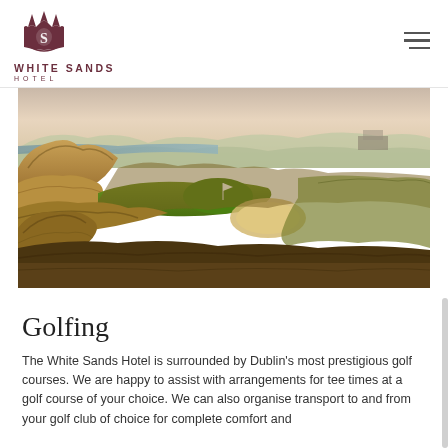[Figure (logo): White Sands Hotel logo with crown/crest emblem and text 'WHITE SANDS HOTEL']
[Figure (photo): Aerial/wide view of a links golf course with rolling sand dunes, green fairways, bunkers, and a flag on the green; coastal scenery with water and hills in background at dusk or golden hour]
Golfing
The White Sands Hotel is surrounded by Dublin's most prestigious golf courses. We are happy to assist with arrangements for tee times at a golf course of your choice. We can also organise transport to and from your golf club of choice for complete comfort and